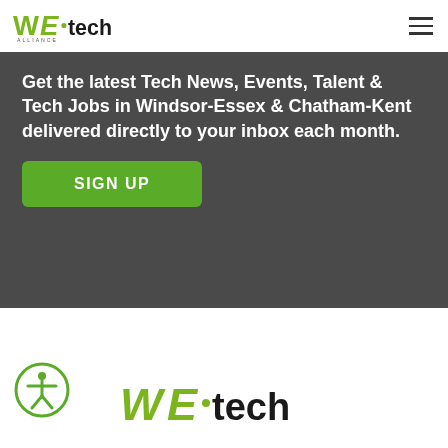WE·tech ALLIANCE navigation bar with logo and hamburger menu
Get the latest Tech News, Events, Talent & Tech Jobs in Windsor-Essex & Chatham-Kent delivered directly to your inbox each month.
SIGN UP
[Figure (logo): Accessibility icon circle with person figure]
[Figure (logo): WE·tech Alliance logo large at bottom]